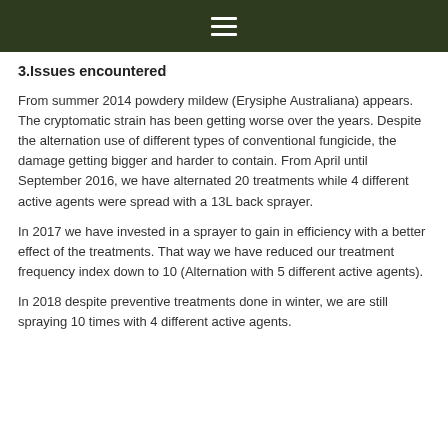≡
3.Issues encountered
From summer 2014 powdery mildew (Erysiphe Australiana) appears. The cryptomatic strain has been getting worse over the years. Despite the alternation use of different types of conventional fungicide, the damage getting bigger and harder to contain. From April until September 2016, we have alternated 20 treatments while 4 different active agents were spread with a 13L back sprayer.
In 2017 we have invested in a sprayer to gain in efficiency with a better effect of the treatments. That way we have reduced our treatment frequency index down to 10 (Alternation with 5 different active agents).
In 2018 despite preventive treatments done in winter, we are still spraying 10 times with 4 different active agents.